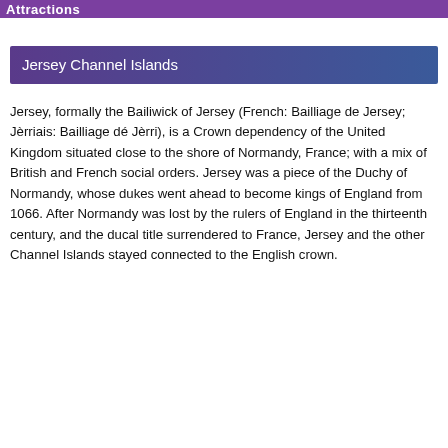Attractions
Jersey Channel Islands
Jersey, formally the Bailiwick of Jersey (French: Bailliage de Jersey; Jèrriais: Bailliage dé Jèrri), is a Crown dependency of the United Kingdom situated close to the shore of Normandy, France; with a mix of British and French social orders. Jersey was a piece of the Duchy of Normandy, whose dukes went ahead to become kings of England from 1066. After Normandy was lost by the rulers of England in the thirteenth century, and the ducal title surrendered to France, Jersey and the other Channel Islands stayed connected to the English crown.